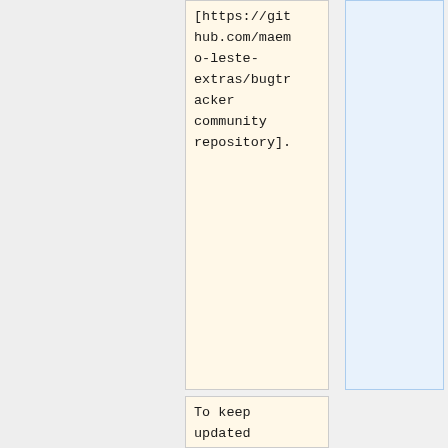[https://github.com/maemo-leste-extras/bugtracker community repository].
To keep updated they use automation in their package maintenance with [https://github.com/maemo-leste/jenkins-integration